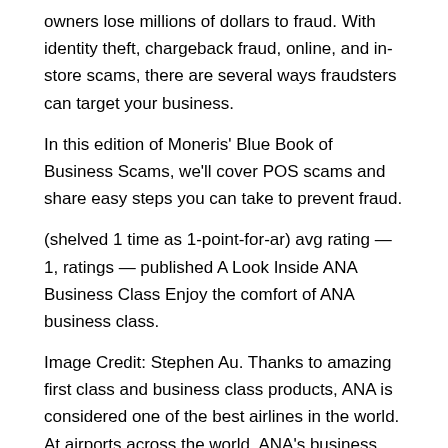owners lose millions of dollars to fraud. With identity theft, chargeback fraud, online, and in-store scams, there are several ways fraudsters can target your business.
In this edition of Moneris' Blue Book of Business Scams, we'll cover POS scams and share easy steps you can take to prevent fraud.
(shelved 1 time as 1-point-for-ar) avg rating — 1, ratings — published A Look Inside ANA Business Class Enjoy the comfort of ANA business class.
Image Credit: Stephen Au. Thanks to amazing first class and business class products, ANA is considered one of the best airlines in the world. At airports across the world, ANA's business class Business to the Point book enjoy priority check-in counters where the process will be quick and your checked baggage will be marked as Author: Spencer Howard.
The Tipping Point is his debut book, and it was a massive hit – not least due to the value it created for businesses and marketers, who now had the first sketch of a blueprint on how to promote their ideas